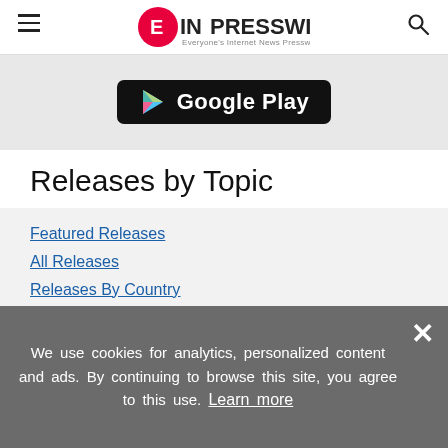EIN Presswire — Everyone's Internet News Presswire
[Figure (screenshot): Google Play store badge/button on grey background]
Releases by Topic
Featured Releases
All Releases
Releases By Country
Releases By US State
Agriculture, Farming & Forestry Industry
Amusement, Gaming & Casino
Automotive Industry
We use cookies for analytics, personalized content and ads. By continuing to browse this site, you agree to this use. Learn more